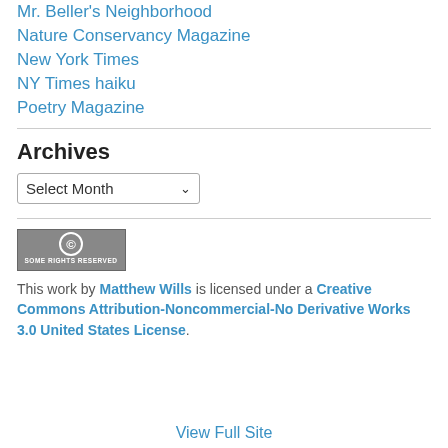Mr. Beller's Neighborhood
Nature Conservancy Magazine
New York Times
NY Times haiku
Poetry Magazine
Archives
Select Month
[Figure (logo): Creative Commons Some Rights Reserved badge - grey background with CC logo circle and text SOME RIGHTS RESERVED]
This work by Matthew Wills is licensed under a Creative Commons Attribution-Noncommercial-No Derivative Works 3.0 United States License.
View Full Site